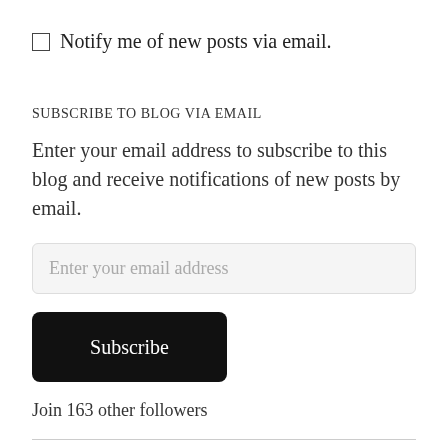☐ Notify me of new posts via email.
SUBSCRIBE TO BLOG VIA EMAIL
Enter your email address to subscribe to this blog and receive notifications of new posts by email.
Enter your email address
Subscribe
Join 163 other followers